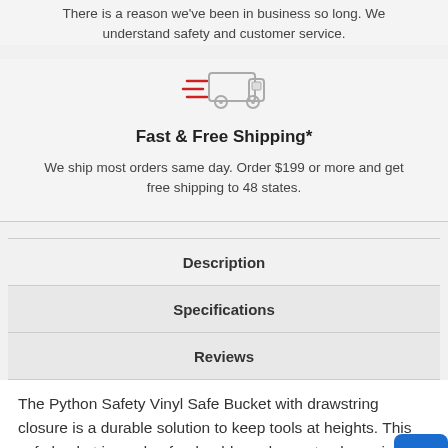There is a reason we've been in business so long. We understand safety and customer service.
[Figure (illustration): Fast shipping truck icon with red speed lines on left side, in light gray outline style]
Fast & Free Shipping*
We ship most orders same day. Order $199 or more and get free shipping to 48 states.
Description
Specifications
Reviews
The Python Safety Vinyl Safe Bucket with drawstring closure is a durable solution to keep tools at heights. This safe bucket is made of a durable and easy-to-clean vinyl body